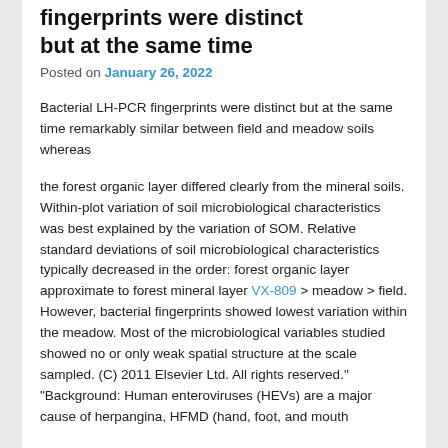fingerprints were distinct but at the same time
Posted on January 26, 2022
Bacterial LH-PCR fingerprints were distinct but at the same time remarkably similar between field and meadow soils whereas
the forest organic layer differed clearly from the mineral soils. Within-plot variation of soil microbiological characteristics was best explained by the variation of SOM. Relative standard deviations of soil microbiological characteristics typically decreased in the order: forest organic layer approximate to forest mineral layer VX-809 > meadow > field. However, bacterial fingerprints showed lowest variation within the meadow. Most of the microbiological variables studied showed no or only weak spatial structure at the scale sampled. (C) 2011 Elsevier Ltd. All rights reserved." "Background: Human enteroviruses (HEVs) are a major cause of herpangina, HFMD (hand, foot, and mouth